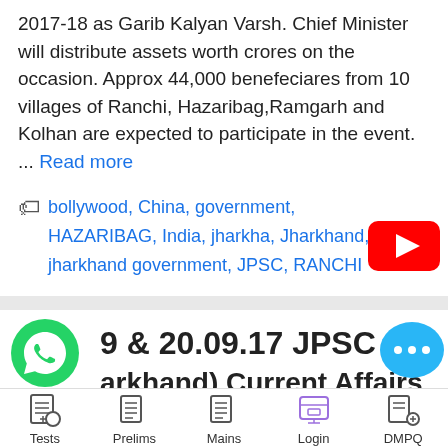2017-18 as Garib Kalyan Varsh. Chief Minister will distribute assets worth crores on the occasion. Approx 44,000 benefeciares from 10 villages of Ranchi, Hazaribag,Ramgarh and Kolhan are expected to participate in the event.     ...  Read more
bollywood, China, government, HAZARIBAG, India, jharkha, Jharkhand, jharkhand government, JPSC, RANCHI
[Figure (logo): YouTube play button red logo]
9 & 20.09.17 JPSC (Jharkhand) Current Affairs
[Figure (logo): WhatsApp green phone icon]
[Figure (logo): Blue chat bubble with three dots]
Tests  Prelims  Mains  Login  DMPQ